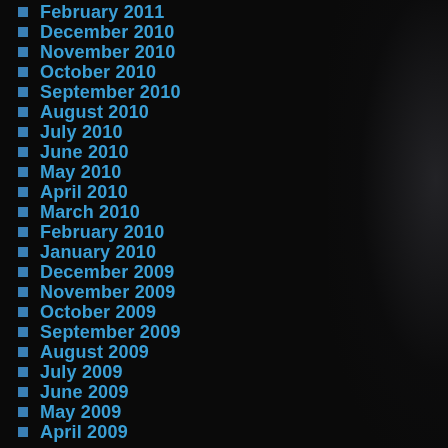February 2011
December 2010
November 2010
October 2010
September 2010
August 2010
July 2010
June 2010
May 2010
April 2010
March 2010
February 2010
January 2010
December 2009
November 2009
October 2009
September 2009
August 2009
July 2009
June 2009
May 2009
April 2009